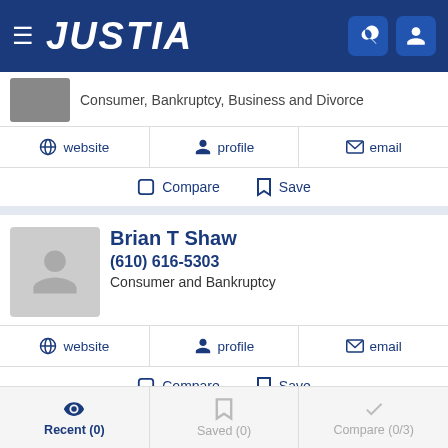JUSTIA
Consumer, Bankruptcy, Business and Divorce
website  profile  email
Compare  Save
Brian T Shaw
(610) 616-5303
Consumer and Bankruptcy
website  profile  email
Compare  Save
Amy Beth Good-Ashman
Recent (0)  Saved (0)  Compare (0/3)